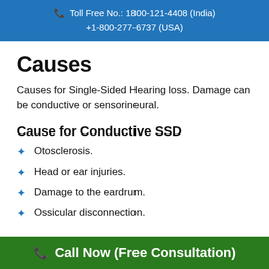Toll Free No.: 1800-121-4408 (India)
+1-800-277-6737 (USA)
Causes
Causes for Single-Sided Hearing loss. Damage can be conductive or sensorineural.
Cause for Conductive SSD
Otosclerosis.
Head or ear injuries.
Damage to the eardrum.
Ossicular disconnection.
Call Now (Free Consultation)